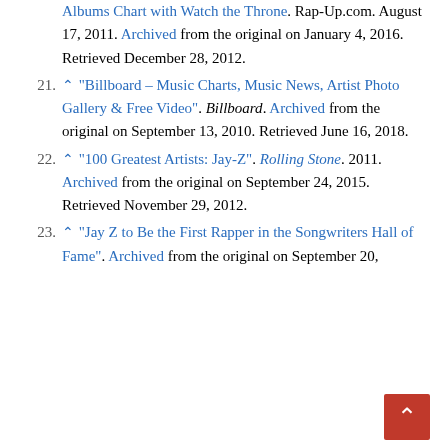continuation: Albums Chart with Watch the Throne. Rap-Up.com. August 17, 2011. Archived from the original on January 4, 2016. Retrieved December 28, 2012.
21. ^ "Billboard – Music Charts, Music News, Artist Photo Gallery & Free Video". Billboard. Archived from the original on September 13, 2010. Retrieved June 16, 2018.
22. ^ "100 Greatest Artists: Jay-Z". Rolling Stone. 2011. Archived from the original on September 24, 2015. Retrieved November 29, 2012.
23. ^ "Jay Z to Be the First Rapper in the Songwriters Hall of Fame". Archived from the original on September 20,